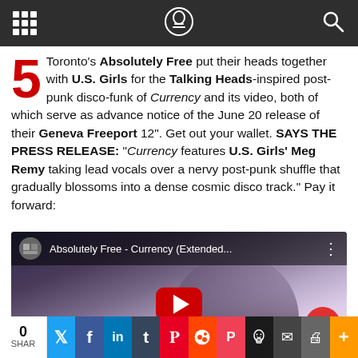Navigation header bar with grid icon, logo, and search icon
5 Toronto's Absolutely Free put their heads together with U.S. Girls for the Talking Heads-inspired post-punk disco-funk of Currency and its video, both of which serve as advance notice of the June 20 release of their Geneva Freeport 12". Get out your wallet. SAYS THE PRESS RELEASE: “Currency features U.S. Girls’ Meg Remy taking lead vocals over a nervy post-punk shuffle that gradually blossoms into a dense cosmic disco track.” Pay it forward:
[Figure (screenshot): YouTube video embed showing 'Absolutely Free - Currency (Extended...' with play button and video thumbnail of person's face]
0 SHAR | Share buttons: Twitter, Facebook, LinkedIn, Tumblr, Pinterest, Reddit, Pocket, Skull, Email, Print, Plus